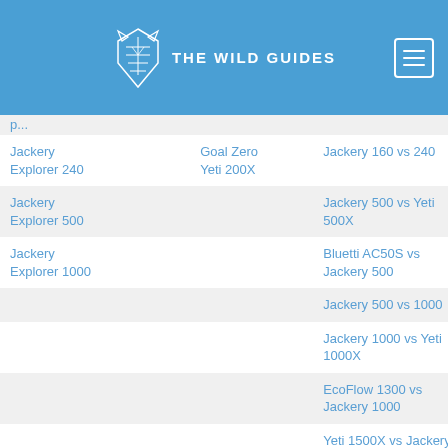THE WILD GUIDES
| Product | Comparison | Versus |
| --- | --- | --- |
| Jackery Explorer 240 | Goal Zero Yeti 200X | Jackery 160 vs 240 |
| Jackery Explorer 500 |  | Jackery 500 vs Yeti 500X |
| Jackery Explorer 1000 |  | Bluetti AC50S vs Jackery 500 |
|  |  | Jackery 500 vs 1000 |
|  |  | Jackery 1000 vs Yeti 1000X |
|  |  | EcoFlow 1300 vs Jackery 1000 |
|  |  | Yeti 1500X vs Jackery 1500 |
Guides to portable power stations for camping